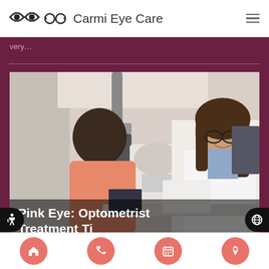Carmi Eye Care
very…
[Figure (photo): A female optometrist in a white lab coat sitting across from a patient at an eye examination machine in a clinical setting]
Pink Eye: Optometrist Treatment Ti…